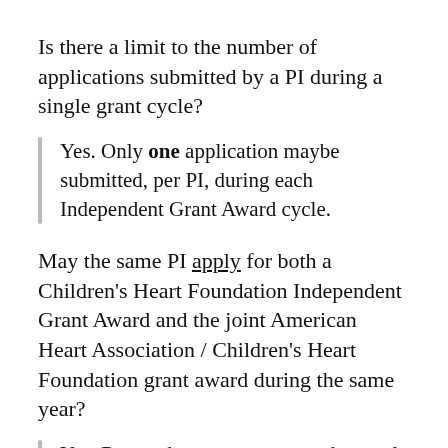Is there a limit to the number of applications submitted by a PI during a single grant cycle?
Yes. Only one application maybe submitted, per PI, during each Independent Grant Award cycle.
May the same PI apply for both a Children's Heart Foundation Independent Grant Award and the joint American Heart Association / Children's Heart Foundation grant award during the same year?
Yes. Researchers are encouraged to apply simultaneously to both funding